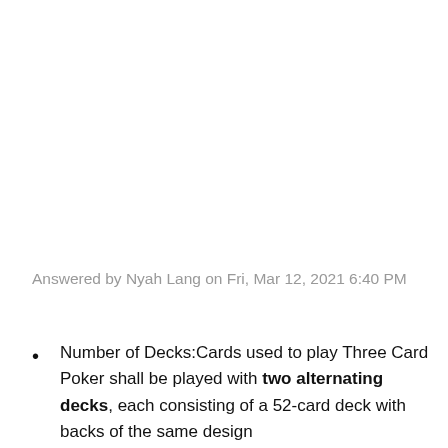Answered by Nyah Lang on Fri, Mar 12, 2021 6:40 PM
Number of Decks:Cards used to play Three Card Poker shall be played with two alternating decks, each consisting of a 52-card deck with backs of the same design